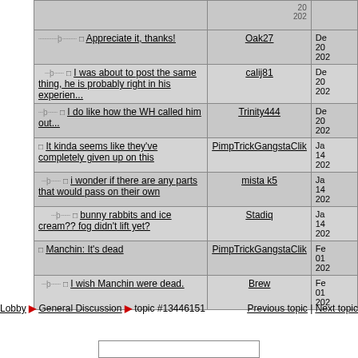| Topic | User | Date |
| --- | --- | --- |
| Appreciate it, thanks! | Oak27 | De 20 202 |
| I was about to post the same thing, he is probably right in his experien... | calij81 | De 20 202 |
| I do like how the WH called him out... | Trinity444 | De 20 202 |
| It kinda seems like they've completely given up on this | PimpTrickGangstaClik | Ja 14 202 |
| i wonder if there are any parts that would pass on their own | mista k5 | Ja 14 202 |
| bunny rabbits and ice cream?? fog didn't lift yet? | Stadiq | Ja 14 202 |
| Manchin: It's dead | PimpTrickGangstaClik | Fe 01 202 |
| I wish Manchin were dead. | Brew | Fe 01 202 |
Lobby ▶ General Discussion ▶ topic #13446151
Previous topic | Next topic